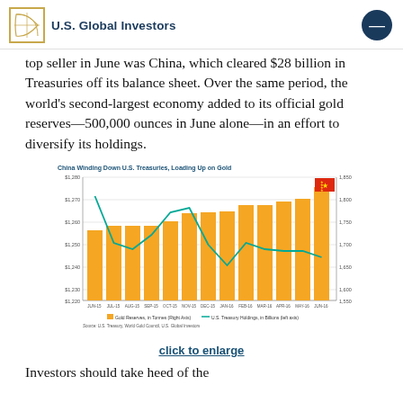U.S. Global Investors
top seller in June was China, which cleared $28 billion in Treasuries off its balance sheet. Over the same period, the world's second-largest economy added to its official gold reserves—500,000 ounces in June alone—in an effort to diversify its holdings.
[Figure (grouped-bar-chart): China Winding Down U.S. Treasuries, Loading Up on Gold]
click to enlarge
Investors should take heed of the